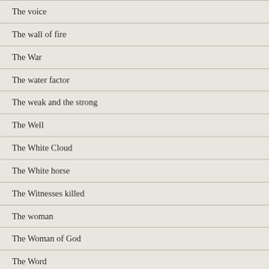The voice
The wall of fire
The War
The water factor
The weak and the strong
The Well
The White Cloud
The White horse
The Witnesses killed
The woman
The Woman of God
The Word